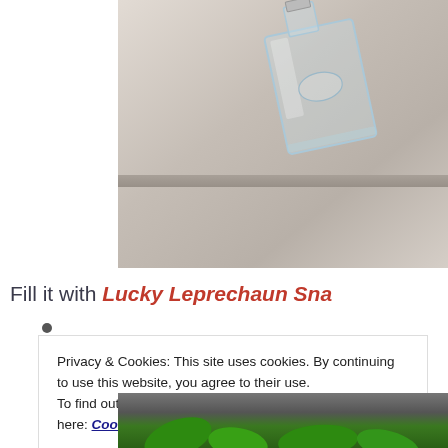[Figure (photo): A glass perfume or spirit bottle photographed at an angle on a shelf, partially cropped at top]
Fill it with Lucky Leprechaun Sna
Privacy & Cookies: This site uses cookies. By continuing to use this website, you agree to their use.
To find out more, including how to control cookies, see here: Cookie Policy
[Figure (photo): Bottom portion of a photo showing green foliage or decoration]